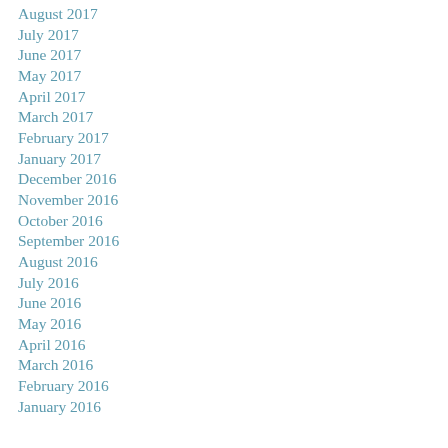August 2017
July 2017
June 2017
May 2017
April 2017
March 2017
February 2017
January 2017
December 2016
November 2016
October 2016
September 2016
August 2016
July 2016
June 2016
May 2016
April 2016
March 2016
February 2016
January 2016